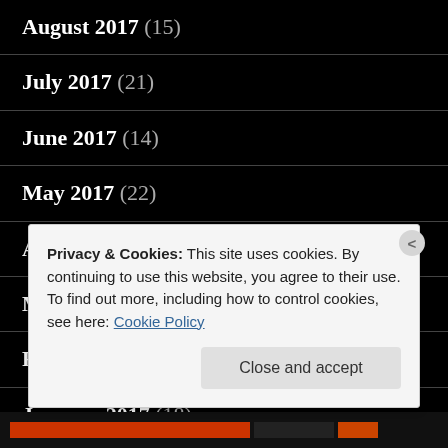August 2017 (15)
July 2017 (21)
June 2017 (14)
May 2017 (22)
April 2017 (16)
March 2017 (19)
February 2017 (10)
January 2017 (18)
December 2016 (10)
Privacy & Cookies: This site uses cookies. By continuing to use this website, you agree to their use.
To find out more, including how to control cookies, see here: Cookie Policy
Close and accept